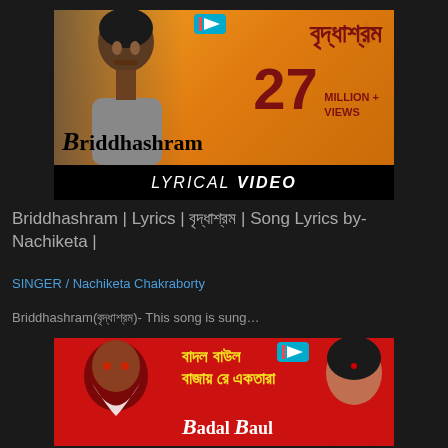[Figure (screenshot): YouTube thumbnail for Briddhashram lyrical video by Nachiketa showing 27 Million+ Views on orange background with Bengali text বৃদ্ধাশ্রম and text LYRICAL VIDEO at bottom]
Briddhashram | Lyrics | বৃদ্ধাশ্রম | Song Lyrics by- Nachiketa |
SINGER / Nachiketa Chakraborty
Briddhashram(বৃদ্ধাশ্রম)- This song is sung…
[Figure (screenshot): YouTube thumbnail for Badal Baul Bajay Re Ekatara showing Bengali text বাদল বাউল বাজায় রে একতারা on red background with Badal Baul text at bottom]